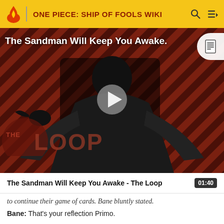ONE PIECE: SHIP OF FOOLS WIKI
[Figure (screenshot): Video thumbnail for 'The Sandman Will Keep You Awake - The Loop'. Shows a dark-cloaked figure against a diagonal red and black striped background. 'THE LOOP' watermark in lower left. A play button triangle overlay in the center. A document icon in upper right corner.]
The Sandman Will Keep You Awake - The Loop  01:40
to continue their game of cards. Bane bluntly stated.
Bane: That's your reflection Primo.